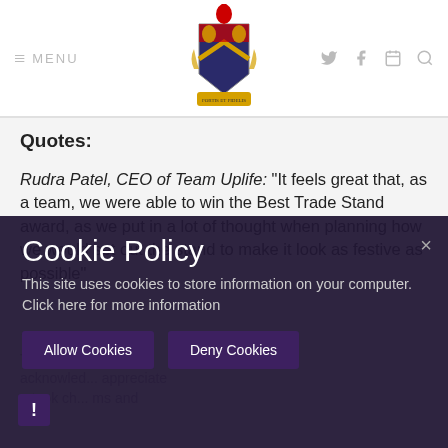MENU [hamburger icon] [coat of arms logo] [twitter icon] [facebook icon] [calendar icon] [search icon]
Quotes:
Rudra Patel, CEO of Team Uplife: "It feels great that, as a team, we were able to win the Best Trade Stand award, as we put in a lot of thought when planning how we would set out the stand to make it look as festive as possible"
Cookie Policy
This site uses cookies to store information on your computer. Click here for more information
Allow Cookies   Deny Cookies